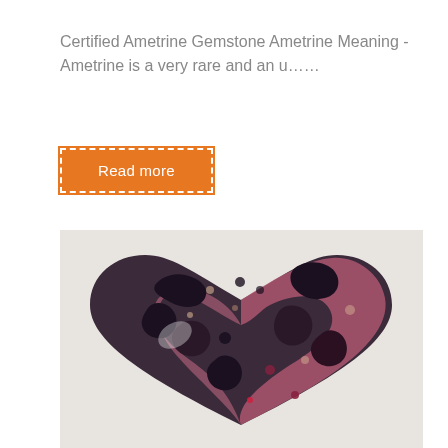Certified Ametrine Gemstone Ametrine Meaning - Ametrine is a very rare and an u……
Read more
[Figure (photo): A heart-shaped polished gemstone with a mottled black and pink/rose coloration, displayed on a light grey background. The stone appears to be rhodonite or similar mineral with black manganese oxide inclusions.]